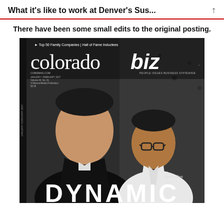What it's like to work at Denver's Sus...
There have been some small edits to the original posting.
[Figure (photo): Cover of Colorado Biz magazine (January/February 2017) featuring two Asian men — one in a dark jacket, one in a white chef's coat with glasses — against a concrete wall background. The magazine title 'coloradobiz' is displayed prominently in white with tagline 'Top 50 Family Companies | Hall of Fame Inductees'. The word 'DYNAMIC' appears at the bottom in large bold white letters.]